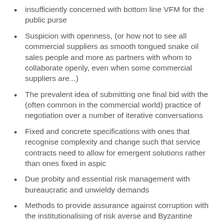insufficiently concerned with bottom line VFM for the public purse
Suspicion with openness, (or how not to see all commercial suppliers as smooth tongued snake oil sales people and more as partners with whom to collaborate openly, even when some commercial suppliers are...)
The prevalent idea of submitting one final bid with the (often common in the commercial world) practice of negotiation over a number of iterative conversations
Fixed and concrete specifications with ones that recognise complexity and change such that service contracts need to allow for emergent solutions rather than ones fixed in aspic
Due probity and essential risk management with bureaucratic and unwieldy demands
Methods to provide assurance against corruption with the institutionalising of risk averse and Byzantine processes (I noted that David